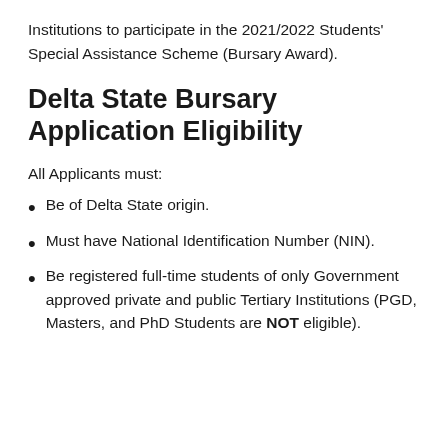Institutions to participate in the 2021/2022 Students' Special Assistance Scheme (Bursary Award).
Delta State Bursary Application Eligibility
All Applicants must:
Be of Delta State origin.
Must have National Identification Number (NIN).
Be registered full-time students of only Government approved private and public Tertiary Institutions (PGD, Masters, and PhD Students are NOT eligible).